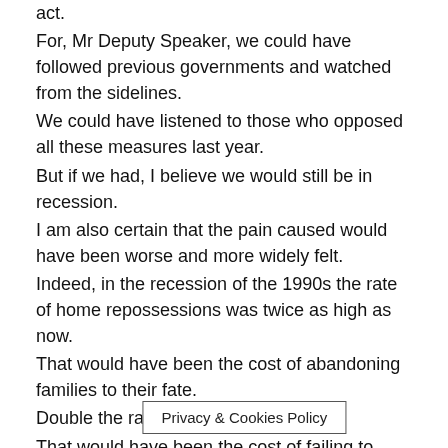act.
For, Mr Deputy Speaker, we could have followed previous governments and watched from the sidelines.
We could have listened to those who opposed all these measures last year.
But if we had, I believe we would still be in recession.
I am also certain that the pain caused would have been worse and more widely felt.
Indeed, in the recession of the 1990s the rate of home repossessions was twice as high as now.
That would have been the cost of abandoning families to their fate.
Double the rate of business failures.
That would have been the cost of failing to support business through this recession.
And, because of the policy decisions we made, the Bank of England has been able to take decisive monetary policy action during the downturn.
Interest rates have been he[Privacy & Cookies Policy]ne per cent